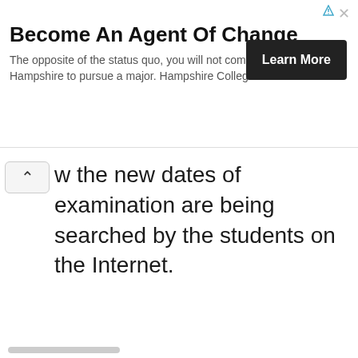[Figure (screenshot): Advertisement banner: 'Become An Agent Of Change' — Hampshire College ad with 'Learn More' button, ad icon and close button in top-right corner.]
w the new dates of examination are being searched by the students on the Internet.